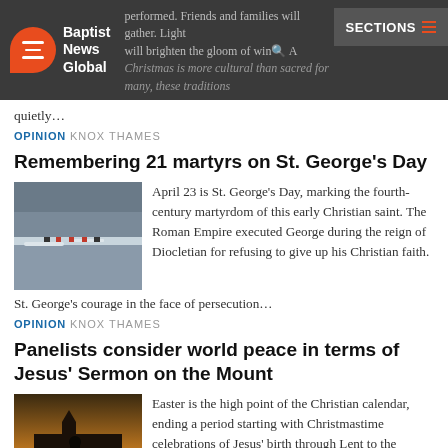Baptist News Global — SECTIONS
performed. Friends and families will gather. Light will brighten the gloom of win… As Christmas is more cultural than sacred for many, these traditions quietly…
OPINION  KNOX THAMES
Remembering 21 martyrs on St. George's Day
[Figure (photo): People standing near icy shoreline, figures in red visible]
April 23 is St. George's Day, marking the fourth-century martyrdom of this early Christian saint. The Roman Empire executed George during the reign of Diocletian for refusing to give up his Christian faith. St. George's courage in the face of persecution…
OPINION  KNOX THAMES
Panelists consider world peace in terms of Jesus' Sermon on the Mount
[Figure (photo): Silhouette of person holding item against sunset sky]
Easter is the high point of the Christian calendar, ending a period starting with Christmastime celebrations of Jesus' birth through Lent to the resurrection on Easter Sunday. The Lenten season is a time for quiet and thoughtful reflection about Christ's…